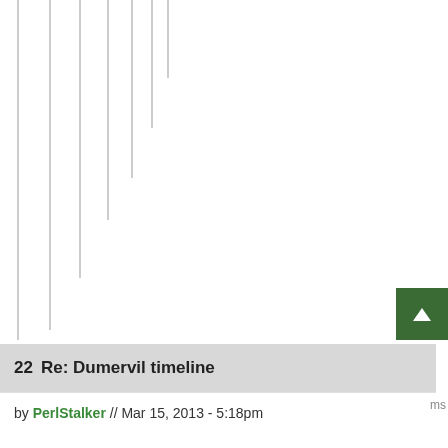[Figure (other): Vertical gray lines of varying heights arranged side by side, cropped from a larger web page content area]
22  Re: Dumervil timeline
by PerlStalker // Mar 15, 2013 - 5:18pm